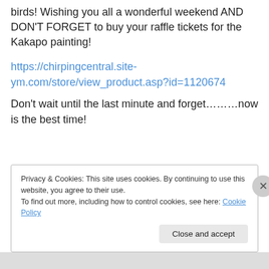birds! Wishing you all a wonderful weekend AND DON'T FORGET to buy your raffle tickets for the Kakapo painting!
https://chirpingcentral.site-ym.com/store/view_product.asp?id=1120674
Don't wait until the last minute and forget………now is the best time!
Privacy & Cookies: This site uses cookies. By continuing to use this website, you agree to their use.
To find out more, including how to control cookies, see here: Cookie Policy
Close and accept